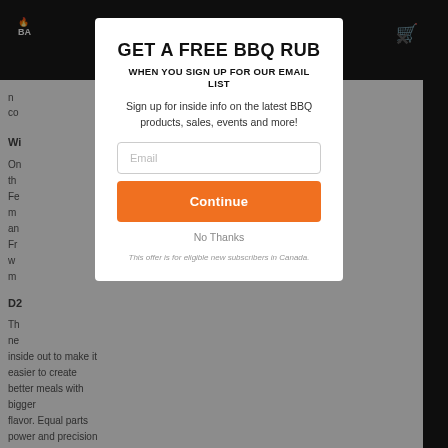BA [logo with flame icon] [cart icon]
n co
Wi
On th Fe m an Fr w m
D2
Th ne inside out to make it easier to create better meals with bigger flavor. Equal parts power and precision are combined with rugged
GET A FREE BBQ RUB
WHEN YOU SIGN UP FOR OUR EMAIL LIST
Sign up for inside info on the latest BBQ products, sales, events and more!
Email
Continue
No Thanks
This offer is for eligible new subscribers in Canada.